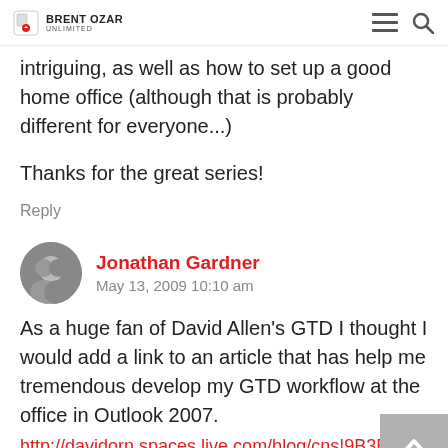BRENT OZAR UNLIMITED
intriguing, as well as how to set up a good home office (although that is probably different for everyone...)
Thanks for the great series!
Reply
Jonathan Gardner
May 13, 2009 10:10 am
As a huge fan of David Allen's GTD I thought I would add a link to an article that has help me tremendous develop my GTD workflow at the office in Outlook 2007.
http://davidorn.spaces.live.com/blog/cns!9B3B8ED39727...